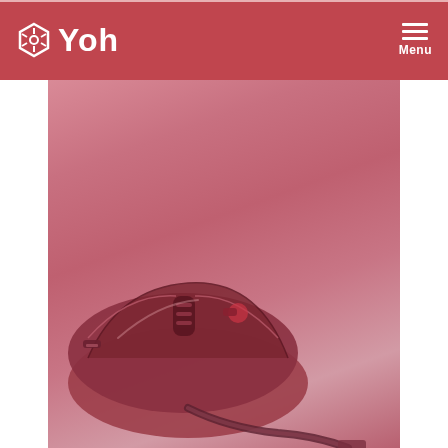Yoh Menu
[Figure (photo): A close-up photo of a computer mouse with a reddish/pink color overlay, showing the top of the mouse with scroll wheel and buttons visible. The background is a soft pink/rose gradient.]